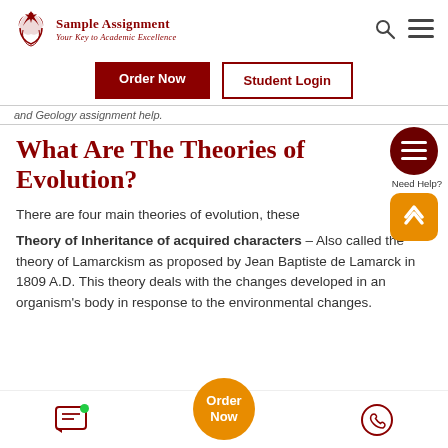Sample Assignment – Your Key to Academic Excellence
Order Now | Student Login
and Geology assignment help.
What Are The Theories of Evolution?
There are four main theories of evolution, these
Theory of Inheritance of acquired characters – Also called the theory of Lamarckism as proposed by Jean Baptiste de Lamarck in 1809 A.D. This theory deals with the changes developed in an organism's body in response to the environmental changes.